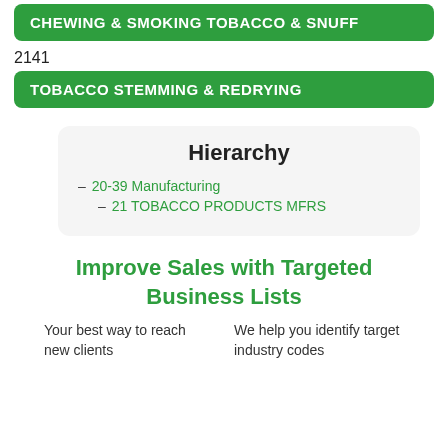CHEWING & SMOKING TOBACCO & SNUFF
2141
TOBACCO STEMMING & REDRYING
Hierarchy
– 20-39 Manufacturing
– 21 TOBACCO PRODUCTS MFRS
Improve Sales with Targeted Business Lists
Your best way to reach new clients
We help you identify target industry codes